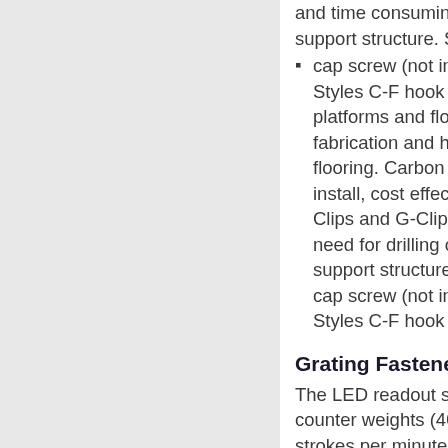and time consuming welding support structure. Style A requires a cap screw (not included). Styles C-F hook onto the support platforms and flooring. Standard fabrication and high loads flooring. Carbon steel or galvanized install, cost effective method Clips and G-Clips) are simple need for drilling or welding support structure. Style A requires a cap screw (not included). Styles C-F hook onto the support
cap screw (not included). Styles C-F hook onto the s platforms and flooring. Sta fabrication and high loads flooring. Carbon steel or ga install, cost effective metho Clips and G-Clips) are sim need for drilling or welding support structure. Style A m cap screw (not included). S Styles C-F hook onto the s
Grating Fasteners – G
The LED readout shows st counter weights (40 pound strokes per minute, as you table.;Spring Steel Fastene up to 12" wideIn addition to manufactures Grating clam extensive range of Grating variety of bearing bar cent